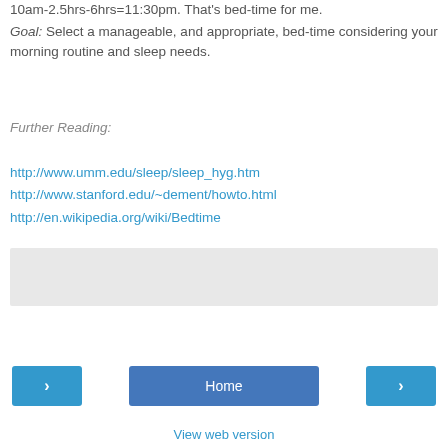10am-2.5hrs-6hrs=11:30pm.  That's bed-time for me.
Goal: Select a manageable, and appropriate, bed-time considering your morning routine and sleep needs.
Further Reading:
http://www.umm.edu/sleep/sleep_hyg.htm
http://www.stanford.edu/~dement/howto.html
http://en.wikipedia.org/wiki/Bedtime
[Figure (other): Gray placeholder box]
Home
View web version